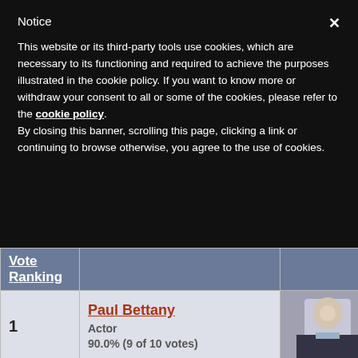Notice
This website or its third-party tools use cookies, which are necessary to its functioning and required to achieve the purposes illustrated in the cookie policy. If you want to know more or withdraw your consent to all or some of the cookies, please refer to the cookie policy.
By closing this banner, scrolling this page, clicking a link or continuing to browse otherwise, you agree to the use of cookies.
| Vote Ranking |  |  |
| --- | --- | --- |
| 1 | Paul Bettany
Actor
90.0% (9 of 10 votes) | [photo] |
| 2 | J.K. Rowling
Author | [photo] |